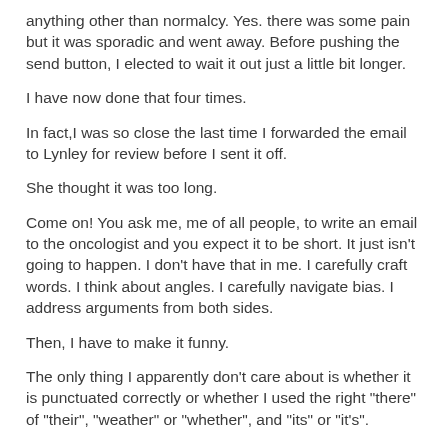anything other than normalcy. Yes. there was some pain but it was sporadic and went away. Before pushing the send button, I elected to wait it out just a little bit longer.
I have now done that four times.
In fact,I was so close the last time I forwarded the email to Lynley for review before I sent it off.
She thought it was too long.
Come on! You ask me, me of all people, to write an email to the oncologist and you expect it to be short. It just isn't going to happen. I don't have that in me. I carefully craft words. I think about angles. I carefully navigate bias. I address arguments from both sides.
Then, I have to make it funny.
The only thing I apparently don't care about is whether it is punctuated correctly or whether I used the right "there" of "their", "weather" or "whether", and "its" or "it's".